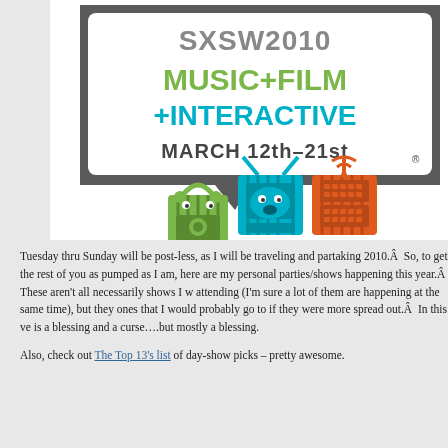[Figure (logo): SXSW 2010 logo - Music + Film + Interactive, March 12th-21st, with illustrated character cubes (music player, TV, radio)]
Tuesday thru Sunday will be post-less, as I will be traveling and partaking 2010.Â  So, to get the rest of you as pumped as I am, here are my personal parties/shows happening this year.Â  These aren't all necessarily shows I w attending (I'm sure a lot of them are happening at the same time), but they ones that I would probably go to if they were more spread out.Â  In this ve is a blessing and a curse….but mostly a blessing.
Also, check out The Top 13's list of day-show picks – pretty awesome.